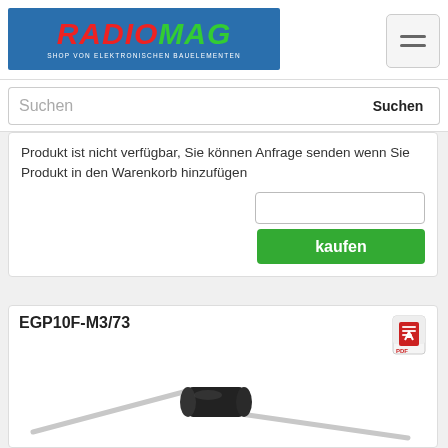[Figure (logo): Radiomag logo - blue background with red/green RADIOMAG text and subtitle 'SHOP VON ELEKTRONISCHEN BAUELEMENTEN']
Suchen
Produkt ist nicht verfügbar, Sie können Anfrage senden wenn Sie Produkt in den Warenkorb hinzufügen
EGP10F-M3/73
[Figure (photo): Electronic component - diode EGP10F-M3/73, cylindrical black body with two silver wire leads, on white background]
Hersteller: Vishay General Semiconductor - Diodes Division